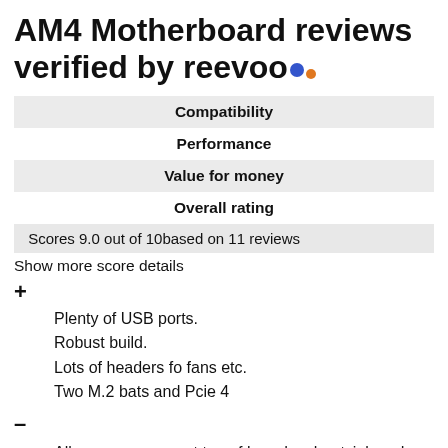AM4 Motherboard reviews verified by reevoo
| Compatibility |
| Performance |
| Value for money |
| Overall rating |
Scores 9.0 out of 10based on 11 reviews
Show more score details
+
Plenty of USB ports.
Robust build.
Lots of headers fo fans etc.
Two M.2 bats and Pcie 4
–
Allow more space at top of board as heatsink and memory bays means you have to have small form memory sticks or thin AIO if you want to top mount your radiator. I have had to front mount my AIO as it